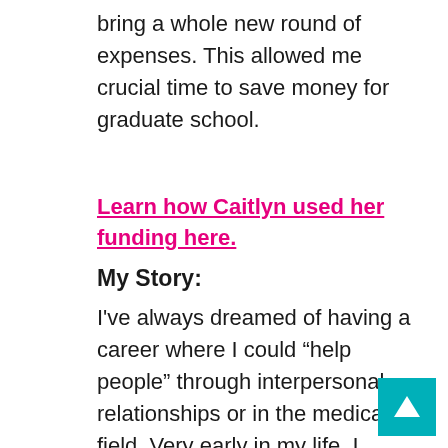bring a whole new round of expenses. This allowed me crucial time to save money for graduate school.
Learn how Caitlyn used her funding here.
My Story:
I've always dreamed of having a career where I could “help people” through interpersonal relationships or in the medical field. Very early in my life, I developed a passion for working with individuals with special needs. My passion really started to grow when I volunteered at a summer camp for children with special needs. I knew I wanted to do something like that for the rest of my life.